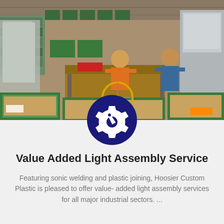[Figure (photo): Factory floor photo showing two workers at work tables surrounded by green plastic bins/crates with cardboard liners and industrial machinery including a SH220A machine in the background.]
[Figure (other): Dark navy blue circle icon containing a white gear/cog with a wrench or tool symbol inside it.]
Value Added Light Assembly Service
Featuring sonic welding and plastic joining, Hoosier Custom Plastic is pleased to offer value- added light assembly services for all major industrial sectors. ...